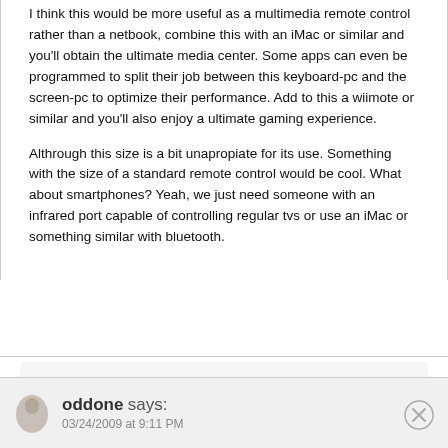I think this would be more useful as a multimedia remote control rather than a netbook, combine this with an iMac or similar and you'll obtain the ultimate media center. Some apps can even be programmed to split their job between this keyboard-pc and the screen-pc to optimize their performance. Add to this a wiimote or similar and you'll also enjoy a ultimate gaming experience.
Althrough this size is a bit unapropiate for its use. Something with the size of a standard remote control would be cool. What about smartphones? Yeah, we just need someone with an infrared port capable of controlling regular tvs or use an iMac or something similar with bluetooth.
oddone says:
03/24/2009 at 9:11 PM